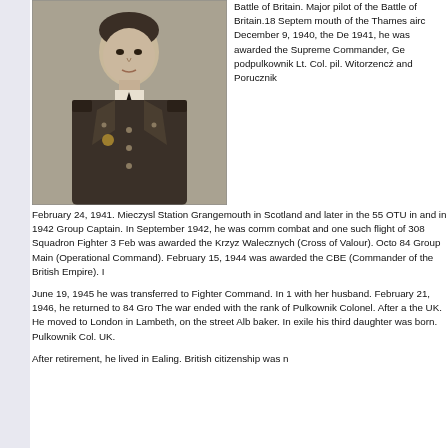[Figure (photo): Black and white portrait photograph of a man in military uniform with buttons and a badge on the chest pocket.]
Battle of Britain. Major pilot of the Battle of Britain.18 September mouth of the Thames aircraft. December 9, 1940, the De 1941, he was awarded the Supreme Commander, Ge podpulkownik Lt. Col. pil. Witorzencż and Porucznik February 24, 1941. Mieczysl Station Grangemouth in Scotland and later in the 55 OTU in and in 1942 Group Captain. In September 1942, he was comm combat and one such flight of 308 Squadron Fighter 3 Feb was awarded the Krzyz Walecznych (Cross of Valour). Octo 84 Group Main (Operational Command). February 15, 1944 was awarded the CBE (Commander of the British Empire). I
June 19, 1945 he was transferred to Fighter Command. In 1 with her husband. February 21, 1946, he returned to 84 Gro The war ended with the rank of Pulkownik Colonel. After a the UK. He moved to London in Lambeth, on the street Alb baker. In exile his third daughter was born. Pulkownik Col. UK.
After retirement, he lived in Ealing. British citizenship was n